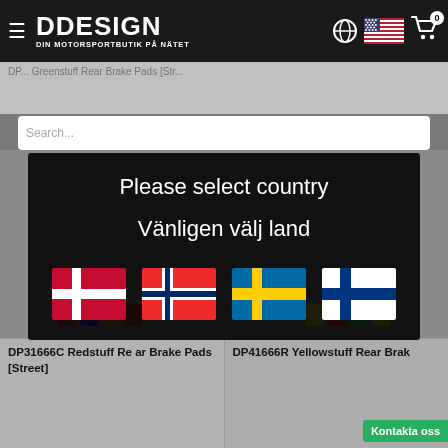DDESIGN — DIN MOTORSPORTBUTIK PÅ NÄTET
[Figure (screenshot): Country selection modal dialog on DDESIGN motorsport webshop. Modal shows 'Please select country / Vänligen välj land' with four Nordic country flags: Denmark, Norway, Sweden, Finland. Background shows partially visible webshop with header, search bar, and product listings for brake pads.]
Please select country
Vänligen välj land
DP31666C Redstuff Rear Brake Pads [Street]
DP41666R Yellowstuff Rear Brake...
Kontakta oss